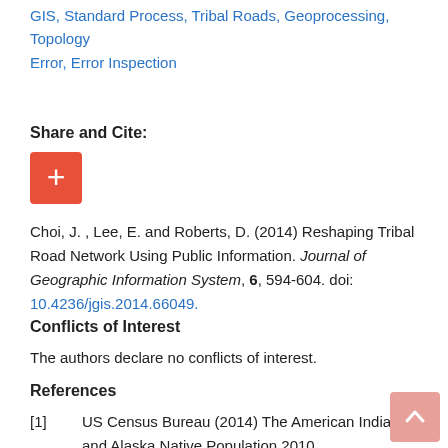GIS, Standard Process, Tribal Roads, Geoprocessing, Topology Error, Error Inspection
Share and Cite:
[Figure (other): Orange plus button for share/cite action]
Choi, J. , Lee, E. and Roberts, D. (2014) Reshaping Tribal Road Network Using Public Information. Journal of Geographic Information System, 6, 594-604. doi: 10.4236/jgis.2014.66049.
Conflicts of Interest
The authors declare no conflicts of interest.
References
[1] US Census Bureau (2014) The American Indian and Alaska Native Population 2010. http://www.census.gov/2010census/data
[2] North Dakota Indian Affairs Commission (2014) Statistics. http://www.nd.gov/indianaffairs/[ch-07...